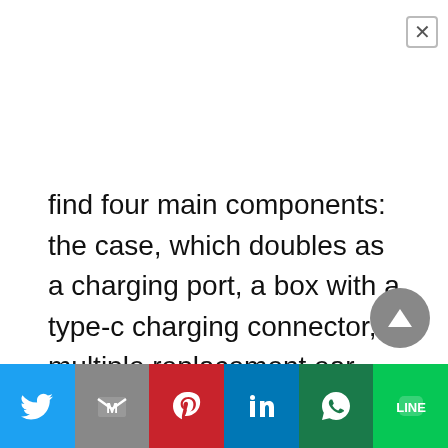find four main components: the case, which doubles as a charging port, a box with a type-c charging connector, multiple replacement ear tips, and, of course, a pair of the TOZO NC2 earbuds. It includes an internal foam layer that protects the products from external damage. The packaging and unboxing are excellent; I wish they included a power brick for the charger, but most earbuds nowadays only include a charging cable.

The TOZO NC2 truly wireless headphones are
[Figure (other): Share bar with Twitter, Gmail, Pinterest, LinkedIn, WhatsApp, and LINE buttons at the bottom of the page]